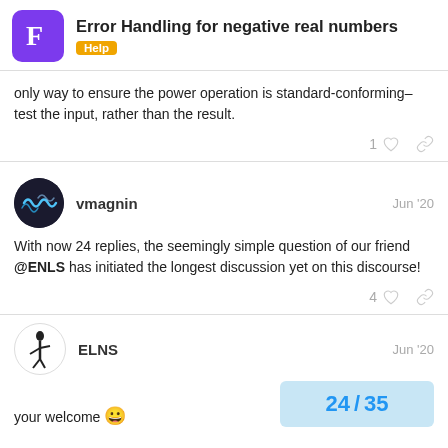Error Handling for negative real numbers — Help
only way to ensure the power operation is standard-conforming–test the input, rather than the result.
vmagnin  Jun '20
With now 24 replies, the seemingly simple question of our friend @ENLS has initiated the longest discussion yet on this discourse!
ELNS  Jun '20
your welcome 😀
24 / 35